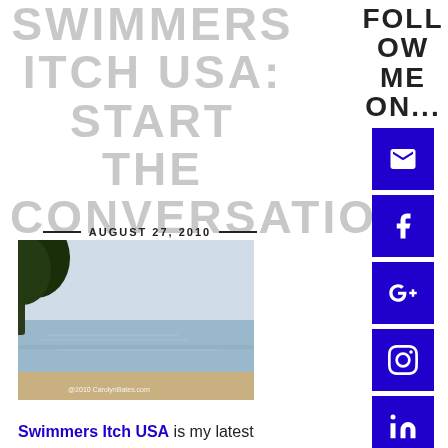SWIMMERS ITCH USA: START THE CONVERSATION
AUGUST 27, 2010
[Figure (photo): A beach photo showing a calm lake or bay with a tree on the left side, sandy shore, and overcast sky. Watermark reads: @2010 CarolynBates.com]
Swimmers Itch USA is my latest blog to interact with a local task force
FOLLOW ME ON...